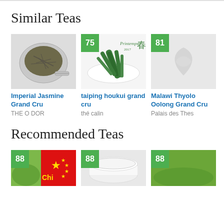Similar Teas
[Figure (photo): Tea leaves in a strainer - Imperial Jasmine Grand Cru]
Imperial Jasmine Grand Cru
THE O DOR
[Figure (photo): Taiping houkui grand cru tea leaves, score badge 75]
taiping houkui grand cru
thé calin
[Figure (photo): Malawi Thyolo Oolong Grand Cru placeholder, score badge 81]
Malawi Thyolo Oolong Grand Cru
Palais des Thes
Recommended Teas
[Figure (photo): Green matcha powder with China flag overlay, score badge 88]
[Figure (photo): White round container of tea, score badge 88]
[Figure (photo): Green matcha powder, score badge 88]